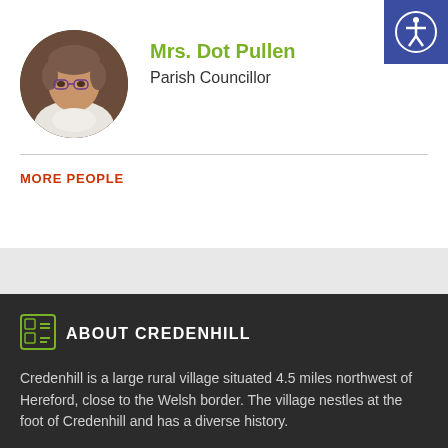[Figure (photo): Circular profile photo of Mrs. Dot Pullen, a woman with short brown/grey hair and glasses, wearing a white jacket]
Mrs. Dot Pullen
Parish Councillor
[Figure (illustration): Accessibility icon button — blue square with white person/accessibility symbol]
MORE PEOPLE
ABOUT CREDENHILL
Credenhill is a large rural village situated 4.5 miles northwest of Hereford, close to the Welsh border. The village nestles at the foot of Credenhill and has a diverse history.
There is a very large Iron Age hill fort (occupied circa 750BC – 45AD)